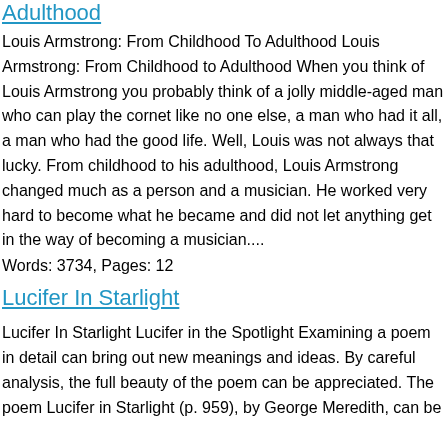Adulthood
Louis Armstrong: From Childhood To Adulthood Louis Armstrong: From Childhood to Adulthood When you think of Louis Armstrong you probably think of a jolly middle-aged man who can play the cornet like no one else, a man who had it all, a man who had the good life. Well, Louis was not always that lucky. From childhood to his adulthood, Louis Armstrong changed much as a person and a musician. He worked very hard to become what he became and did not let anything get in the way of becoming a musician....
Words: 3734, Pages: 12
Lucifer In Starlight
Lucifer In Starlight Lucifer in the Spotlight Examining a poem in detail can bring out new meanings and ideas. By careful analysis, the full beauty of the poem can be appreciated. The poem Lucifer in Starlight (p. 959), by George Meredith, can be